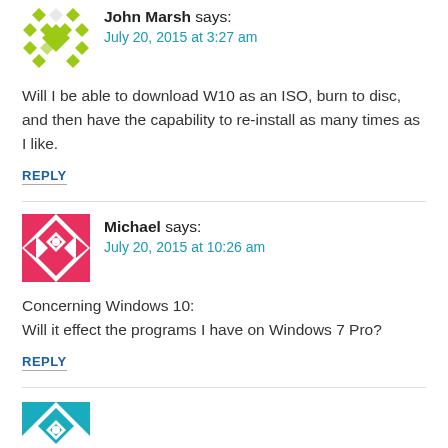John Marsh says: July 20, 2015 at 3:27 am
Will I be able to download W10 as an ISO, burn to disc, and then have the capability to re-install as many times as I like.
REPLY
Michael says: July 20, 2015 at 10:26 am
Concerning Windows 10:
Will it effect the programs I have on Windows 7 Pro?
REPLY